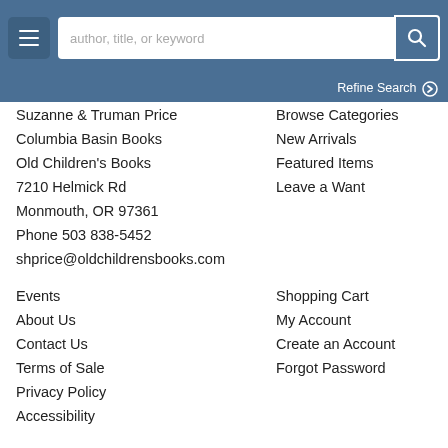[Menu] [Search: author, title, or keyword] [Search button]
Refine Search
Suzanne & Truman Price
Columbia Basin Books
Old Children's Books
7210 Helmick Rd
Monmouth, OR 97361
Phone 503 838-5452
shprice@oldchildrensbooks.com
Browse Categories
New Arrivals
Featured Items
Leave a Want
Events
About Us
Contact Us
Terms of Sale
Privacy Policy
Accessibility
Shopping Cart
My Account
Create an Account
Forgot Password
© 2022 Columbia Basin Books. All rights reserved. Site Map | Site by Bibliopolis